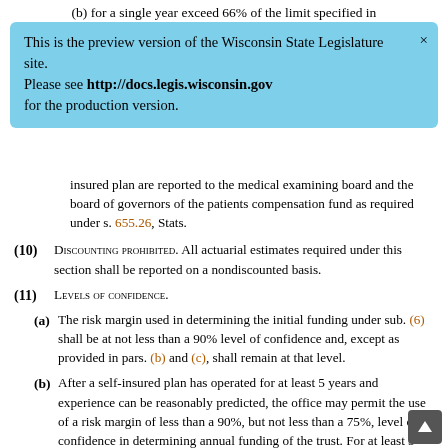(b) for a single year exceed 66% of the limit specified in
[Figure (infographic): Preview banner: light blue rounded rectangle with text 'This is the preview version of the Wisconsin State Legislature site. Please see http://docs.legis.wisconsin.gov for the production version.' with an X close button.]
insured plan are reported to the medical examining board and the board of governors of the patients compensation fund as required under s. 655.26, Stats.
(10) Discounting prohibited. All actuarial estimates required under this section shall be reported on a nondiscounted basis.
(11) Levels of confidence.
(a) The risk margin used in determining the initial funding under sub. (6) shall be at not less than a 90% level of confidence and, except as provided in pars. (b) and (c), shall remain at that level.
(b) After a self-insured plan has operated for at least 5 years and experience can be reasonably predicted, the office may permit the use of a risk margin of less than a 90%, but not less than a 75%, level of confidence in determining annual funding of the trust. For at least 5 years after such permission is granted, the provider shall fund the difference between the cash required at the lower level of confidence and the 90% level of confidence with funds restricted by provider or the provider's governing body for the purpose of